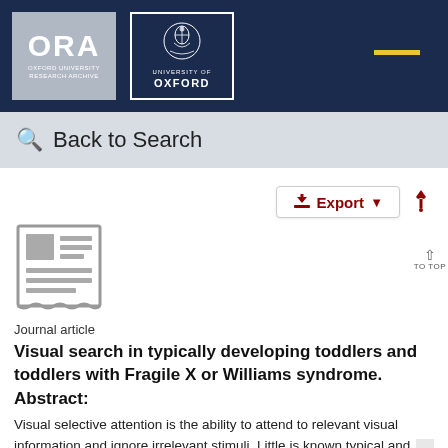[Figure (logo): ORA Oxford University Research Archive logo and University of Oxford crest logo on dark navy header bar]
Back to Search
[Figure (other): Export button with download icon and pin icon]
[Figure (illustration): Journal article document icon (newspaper/article graphic in grey)]
Journal article
Visual search in typically developing toddlers and toddlers with Fragile X or Williams syndrome.
Abstract:
Visual selective attention is the ability to attend to relevant visual information and ignore irrelevant stimuli. Little is known typical and atypical development in early childhood Expe investigates typically developing toddlers' visual search fo.